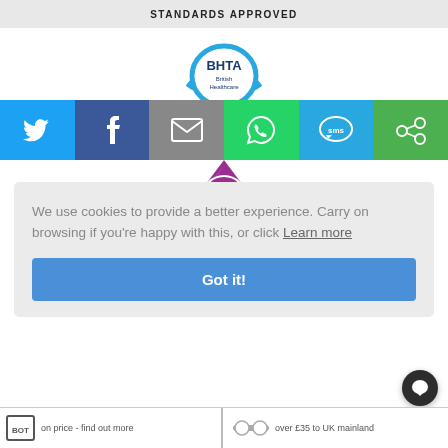[Figure (logo): Top banner with text STANDARDS APPROVED on grey background]
[Figure (logo): BHTA British Healthcare Trade Association circular logo in blue and white]
[Figure (infographic): Social sharing bar with Twitter, Facebook, Email, WhatsApp, SMS, and share icons in colored blocks]
[Figure (logo): TSI (Trading Standards Institute) kite-shaped logo in purple/magenta]
We use cookies to provide a better experience. Carry on browsing if you're happy with this, or click Learn more
Got it!
[Figure (illustration): Chat bubble icon in dark circle]
on price - find out more
over £35 to UK mainland